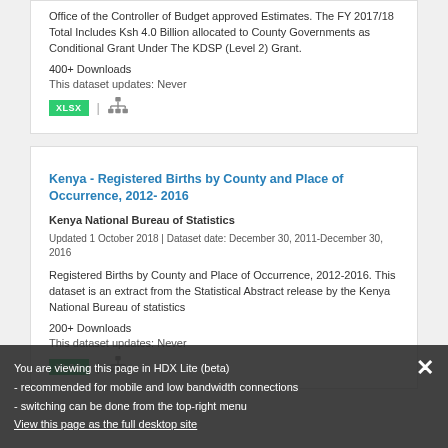Office of the Controller of Budget approved Estimates. The FY 2017/18 Total Includes Ksh 4.0 Billion allocated to County Governments as Conditional Grant Under The KDSP (Level 2) Grant.
400+ Downloads
This dataset updates: Never
[Figure (infographic): XLSX badge and network/hierarchy icon]
Kenya - Registered Births by County and Place of Occurrence, 2012- 2016
Kenya National Bureau of Statistics
Updated 1 October 2018 | Dataset date: December 30, 2011-December 30, 2016
Registered Births by County and Place of Occurrence, 2012-2016. This dataset is an extract from the Statistical Abstract release by the Kenya National Bureau of statistics
200+ Downloads
This dataset updates: Never
[Figure (infographic): XLSX badge and network/hierarchy icon]
You are viewing this page in HDX Lite (beta)
- recommended for mobile and low bandwidth connections
- switching can be done from the top-right menu
View this page as the full desktop site